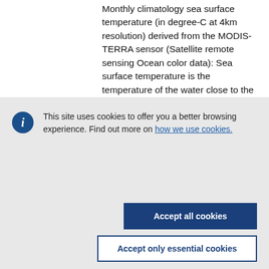Monthly climatology sea surface temperature (in degree-C at 4km resolution) derived from the MODIS-TERRA sensor (Satellite remote sensing Ocean color data): Sea surface temperature is the temperature of the water close to the
This site uses cookies to offer you a better browsing experience. Find out more on how we use cookies.
Accept all cookies
Accept only essential cookies